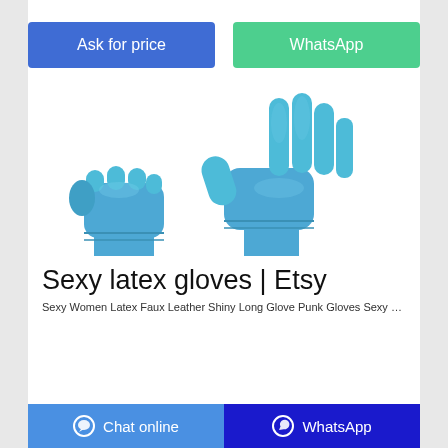[Figure (other): Two blue latex/nitrile gloves on a white background — one hand in a fist wearing a glove, and another gloved hand with fingers spread open.]
Sexy latex gloves | Etsy
Sexy Women Latex Faux Leather Shiny Long Glove Punk Gloves Sexy Hip-pop Outfit
Chat online   WhatsApp